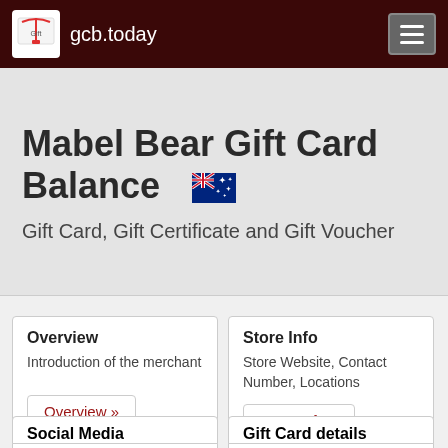gcb.today
Mabel Bear Gift Card Balance
Gift Card, Gift Certificate and Gift Voucher
Overview
Introduction of the merchant
Overview »
Store Info
Store Website, Contact Number, Locations
Store Info »
Social Media
Gift Card details